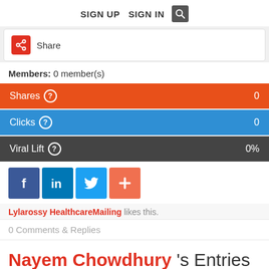SIGN UP   SIGN IN  [search]
Share
Members: 0 member(s)
Shares  0
Clicks  0
Viral Lift  0%
[Figure (other): Social share buttons: Facebook, LinkedIn, Twitter, Plus]
Lylarossy HealthcareMailing likes this.
0 Comments & Replies
Nayem Chowdhury 's Entries